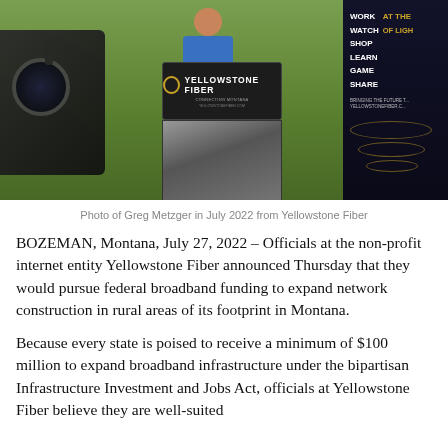[Figure (photo): Outdoor press conference scene with a person in a blue shirt standing behind a dark wooden podium bearing the Yellowstone Fiber logo. A camera is visible on the left side. On the right is a dark banner with the words WORK, WATCH, SHOP, LEARN, GAME, SHARE and the slogan AT THE SPEED OF LIGHT with YELLOWSTONEFIBER.COM and gold arc decorations. Background shows green grass.]
Photo of Greg Metzger in July 2022 from Yellowstone Fiber
BOZEMAN, Montana, July 27, 2022 – Officials at the non-profit internet entity Yellowstone Fiber announced Thursday that they would pursue federal broadband funding to expand network construction in rural areas of its footprint in Montana.
Because every state is poised to receive a minimum of $100 million to expand broadband infrastructure under the bipartisan Infrastructure Investment and Jobs Act, officials at Yellowstone Fiber believe they are well-suited